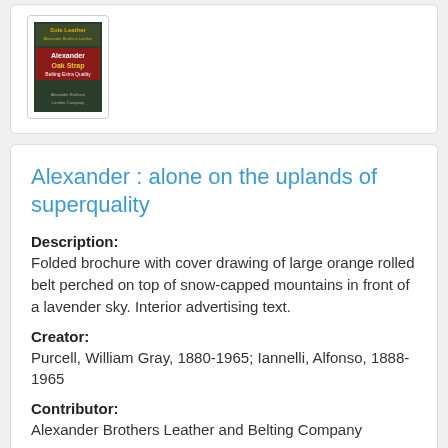[Figure (photo): Book cover image showing 'Alexander' and 'Oak Strap' text with dark green/red design, inside a bordered card at top of page]
Alexander : alone on the uplands of superquality
Description:
Folded brochure with cover drawing of large orange rolled belt perched on top of snow-capped mountains in front of a lavender sky. Interior advertising text.
Creator:
Purcell, William Gray, 1880-1965; Iannelli, Alfonso, 1888-1965
Contributor:
Alexander Brothers Leather and Belting Company
Created:
1916
Contributed By: